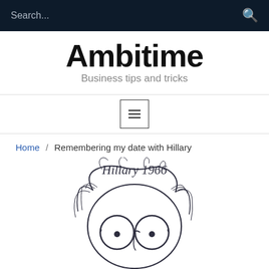Search...
Ambitime
Business tips and tricks
[Figure (other): Hamburger menu button (three horizontal lines) inside a square border]
Home / Remembering my date with Hillary
[Figure (illustration): Hand-drawn cartoon sketch of a person labeled 'Hillary 1966' showing large round glasses and messy hair, drawn in dark ink on white background]